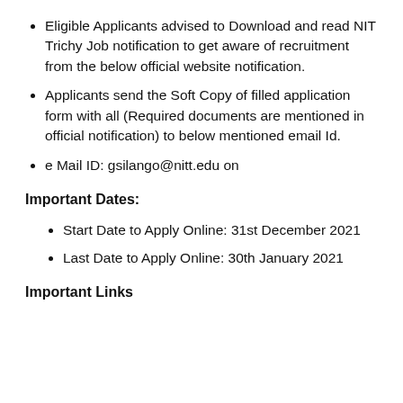Eligible Applicants advised to Download and read NIT Trichy Job notification to get aware of recruitment from the below official website notification.
Applicants send the Soft Copy of filled application form with all (Required documents are mentioned in official notification) to below mentioned email Id.
e Mail ID: gsilango@nitt.edu on
Important Dates:
Start Date to Apply Online: 31st December 2021
Last Date to Apply Online: 30th January 2021
Important Links